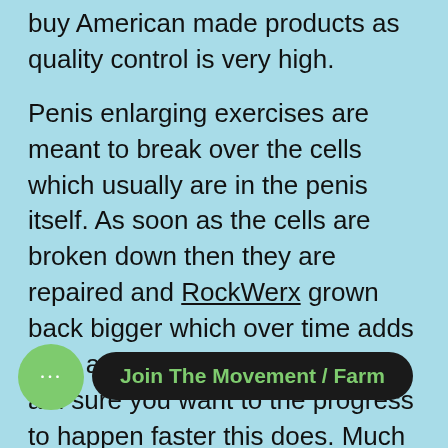buy American made products as quality control is very high.
Penis enlarging exercises are meant to break over the cells which usually are in the penis itself. As soon as the cells are broken down then they are repaired and RockWerx grown back bigger which over time adds girth and length to your penis.I am sure you want to the progress to happen faster this does. Much better you obtain more size you can gain and the less who's takes. Every tip no matter how sm[...]er[...]fference between 0.5-1 inside.